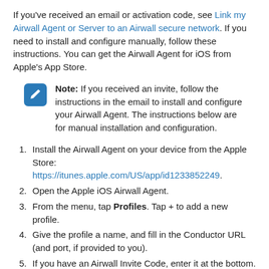If you've received an email or activation code, see Link my Airwall Agent or Server to an Airwall secure network. If you need to install and configure manually, follow these instructions. You can get the Airwall Agent for iOS from Apple's App Store.
Note: If you received an invite, follow the instructions in the email to install and configure your Airwall Agent. The instructions below are for manual installation and configuration.
Install the Airwall Agent on your device from the Apple Store: https://itunes.apple.com/US/app/id1233852249.
Open the Apple iOS Airwall Agent.
From the menu, tap Profiles. Tap + to add a new profile.
Give the profile a name, and fill in the Conductor URL (and port, if provided to you).
If you have an Airwall Invite Code, enter it at the bottom.
Tap ADD.